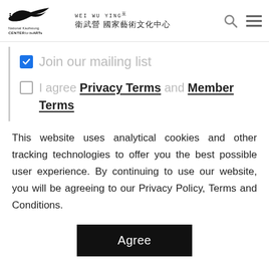[Figure (logo): Wei Wu Ying National Kaohsiung Center for the Arts logo with bird silhouette and Chinese characters]
Join our mailing list (checked checkbox)
I agree Privacy Terms and Member Terms (unchecked checkbox)
This website uses analytical cookies and other tracking technologies to offer you the best possible user experience. By continuing to use our website, you will be agreeing to our Privacy Policy, Terms and Conditions.
Agree